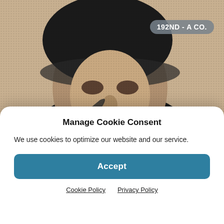[Figure (photo): Black and white halftone photograph of a person, appears to be a military or yearbook-style portrait. A badge label reading '192ND - A CO.' appears in the upper right corner over the photo.]
Private ... (partial green serif text visible behind modal)
Manage Cookie Consent
We use cookies to optimize our website and our service.
Accept
Cookie Policy   Privacy Policy